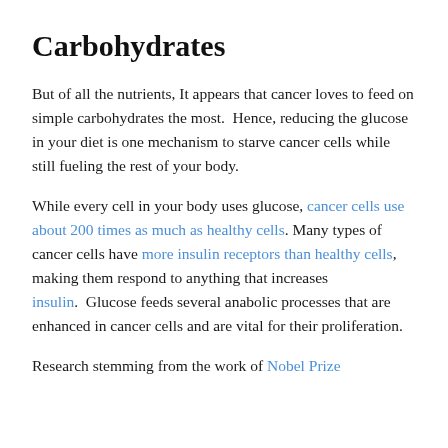Carbohydrates
But of all the nutrients, It appears that cancer loves to feed on simple carbohydrates the most.  Hence, reducing the glucose in your diet is one mechanism to starve cancer cells while still fueling the rest of your body.
While every cell in your body uses glucose, cancer cells use about 200 times as much as healthy cells. Many types of cancer cells have more insulin receptors than healthy cells, making them respond to anything that increases insulin.  Glucose feeds several anabolic processes that are enhanced in cancer cells and are vital for their proliferation.
Research stemming from the work of Nobel Prize